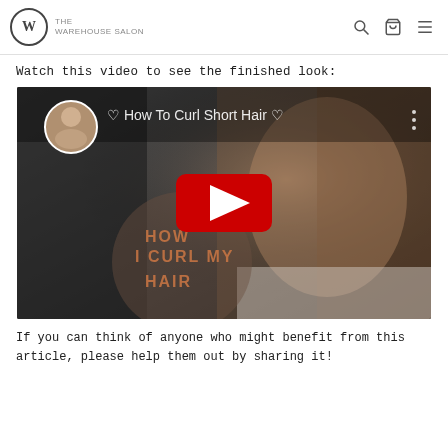THE WAREHOUSE SALON
Watch this video to see the finished look:
[Figure (screenshot): YouTube video thumbnail showing a woman with curly short hair. Video title reads '♡ How To Curl Short Hair ♡' with a circular profile picture in the top left, a YouTube play button in the center, and overlaid text reading 'HOW I CURL MY HAIR'.]
If you can think of anyone who might benefit from this article, please help them out by sharing it!